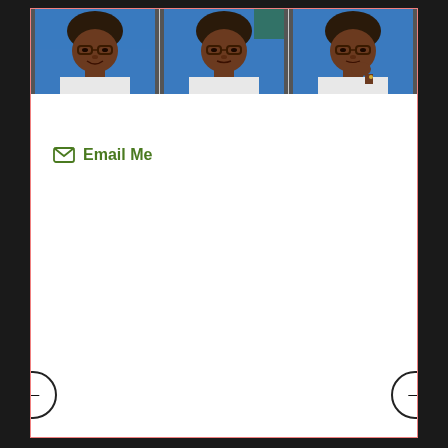[Figure (photo): Three side-by-side photos of an older woman with glasses, wearing a white top, photographed in front of a blue background outdoors. Left photo: smiling. Center photo: looking slightly aside. Right photo: resting chin on hand.]
Email Me